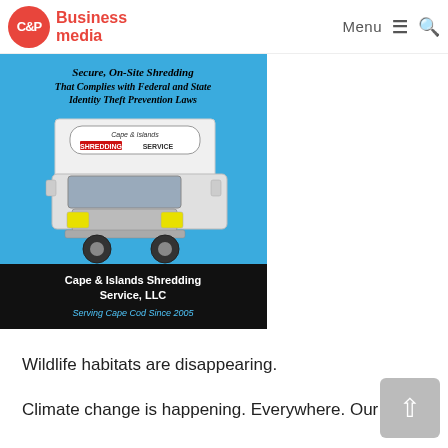C&P Business media — Menu (hamburger) Search
[Figure (advertisement): Cape & Islands Shredding Service, LLC advertisement. Blue background with a white shredding truck. Text: Secure, On-Site Shredding That Complies with Federal and State Identity Theft Prevention Laws. Truck has 'Cape & Islands SHREDDING SERVICE' on side and 'DUMPSTER DIVERS HATE US' on front. Black footer: Cape & Islands Shredding Service, LLC — Serving Cape Cod Since 2005]
Wildlife habitats are disappearing.
Climate change is happening. Everywhere. Our